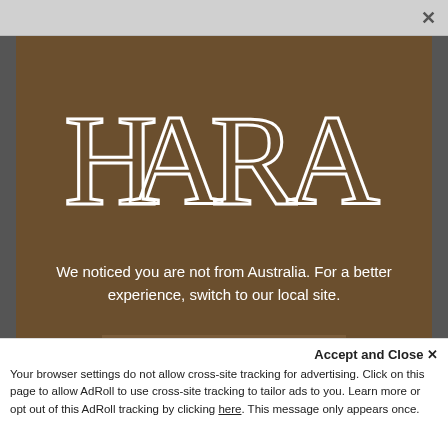[Figure (screenshot): Browser top bar with close X button]
[Figure (logo): HARA brand logo in large white stylized letters on brown background]
We noticed you are not from Australia. For a better experience, switch to our local site.
Visit Local Site
No thanks, stay here
Accept and Close ✕
Your browser settings do not allow cross-site tracking for advertising. Click on this page to allow AdRoll to use cross-site tracking to tailor ads to you. Learn more or opt out of this AdRoll tracking by clicking here. This message only appears once.